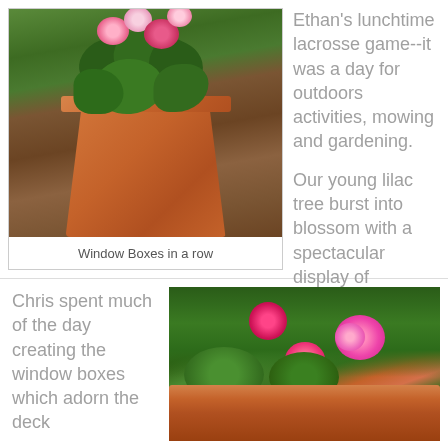[Figure (photo): A terra cotta pot with pink geraniums on a wooden deck with patio furniture and trees in the background]
Window Boxes in a row
Ethan's lunchtime lacrosse game--it was a day for outdoors activities, mowing and gardening.
Our young lilac tree burst into blossom with a spectacular display of fragrant blooms.
Chris spent much of the day creating the window boxes which adorn the deck
[Figure (photo): Window box with pink geraniums and other flowers on a deck railing with green trees in the background]